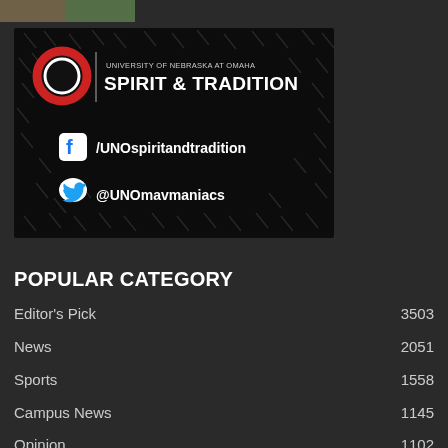[Figure (photo): Partial top image strip showing outdoor scene]
[Figure (illustration): University of Nebraska at Omaha Spirit & Tradition banner with UNO logo, Facebook /UNOspiritandtradition, and Twitter @UNOmavmaniacs social media links on dark background with decorative slash marks]
POPULAR CATEGORY
Editor's Pick  3503
News  2051
Sports  1558
Campus News  1145
Opinion  1102